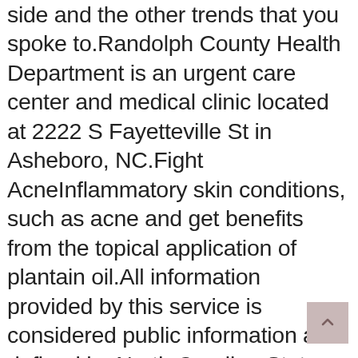side and the other trends that you spoke to.Randolph County Health Department is an urgent care center and medical clinic located at 2222 S Fayetteville St in Asheboro, NC.Fight AcneInflammatory skin conditions, such as acne and get benefits from the topical application of plantain oil.All information provided by this service is considered public information as defined by North Carolina State Law.These and other factors that could cause our actual results to differ from those indicated in forward-looking statements that are included in the "Risk Factors" section of our securities filings with the Securities and Exchange Commission.There have been supply chain interruptions for the medications, according to a United Nations Population Fund published in April.At least have telemedicine restrictions that can make it difficult to get access to contraception started a petition to lift telemedicine restrictions that are preventing women from accessing